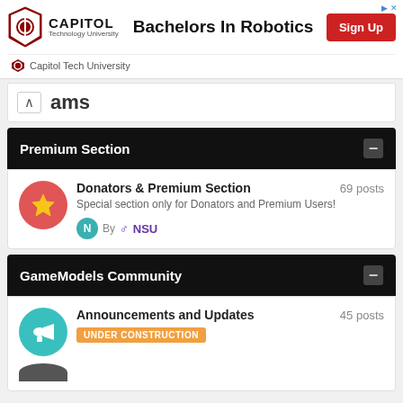[Figure (screenshot): Capitol Technology University ad banner with logo, 'Bachelors In Robotics' text, and red Sign Up button]
Capitol Tech University
ams
Premium Section
Donators & Premium Section
69 posts
Special section only for Donators and Premium Users!
By NSU
GameModels Community
Announcements and Updates
45 posts
UNDER CONSTRUCTION